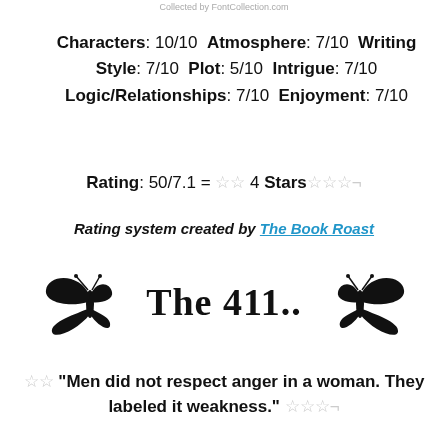Collected by FontCollection.com
Characters: 10/10  Atmosphere: 7/10  Writing Style: 7/10  Plot: 5/10  Intrigue: 7/10  Logic/Relationships: 7/10  Enjoyment: 7/10
Rating: 50/7.1 = ☆☆ 4 Stars☆☆☆¬
Rating system created by The Book Roast
[Figure (illustration): Two black butterfly silhouettes flanking decorative text 'The 411..']
☆☆ "Men did not respect anger in a woman. They labeled it weakness." ☆☆☆¬